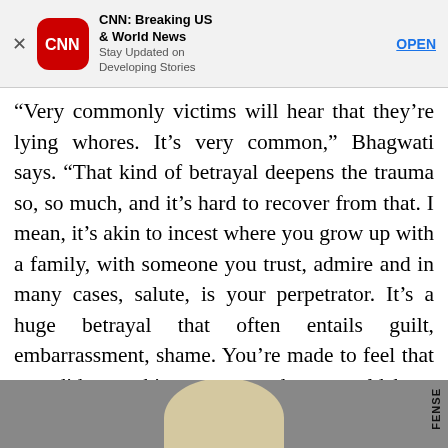[Figure (screenshot): CNN Breaking US & World News app advertisement banner with close button (X), red CNN logo icon, app name and description, and OPEN button]
“Very commonly victims will hear that they’re lying whores. It’s very common,” Bhagwati says. “That kind of betrayal deepens the trauma so, so much, and it’s hard to recover from that. I mean, it’s akin to incest where you grow up with a family, with someone you trust, admire and in many cases, salute, is your perpetrator. It’s a huge betrayal that often entails guilt, embarrassment, shame. You’re made to feel that you did something wrong and you could have prevented it from happening.”
[Figure (photo): Partial view of what appears to be a military or defense-related image at the bottom of the page, with a circular shape visible and text reading FENSE vertically on the right side]